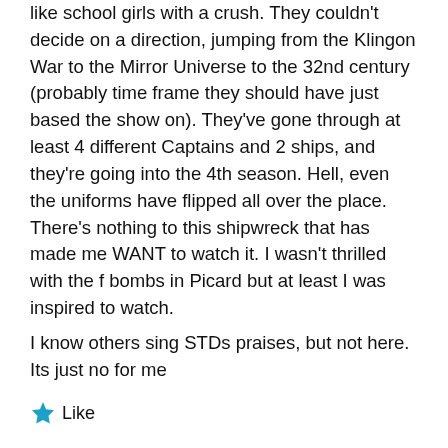like school girls with a crush. They couldn't decide on a direction, jumping from the Klingon War to the Mirror Universe to the 32nd century (probably time frame they should have just based the show on). They've gone through at least 4 different Captains and 2 ships, and they're going into the 4th season. Hell, even the uniforms have flipped all over the place. There's nothing to this shipwreck that has made me WANT to watch it. I wasn't thrilled with the f bombs in Picard but at least I was inspired to watch.
I know others sing STDs praises, but not here. Its just no for me
Like